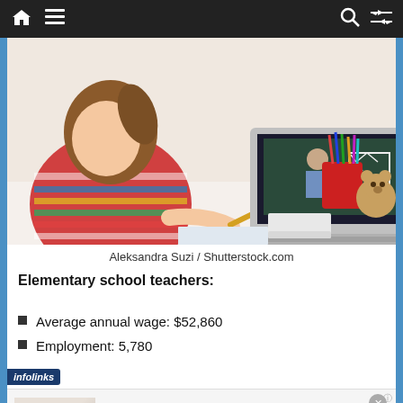Navigation bar with home, menu, search, and shuffle icons
[Figure (photo): A young girl with a striped shirt sits at a desk writing, watching a teacher on a laptop screen. On the desk are a red cup with colored pencils, a teddy bear, an eraser, and a notebook.]
Aleksandra Suzi / Shutterstock.com
Elementary school teachers:
Average annual wage: $52,860
Employment: 5,780
[Figure (screenshot): Advertisement banner: Online Home Store for Furniture. Shop Wayfair for A Zillion Things Home across all styles. www.wayfair.com]